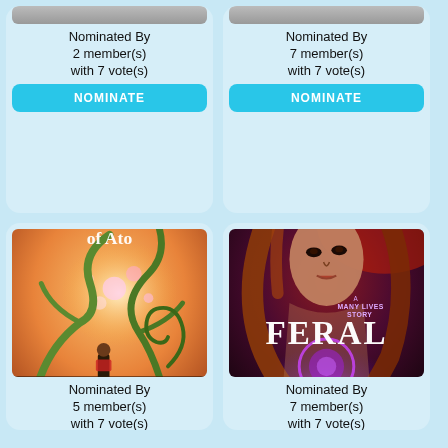Nominated By 2 member(s) with 7 vote(s)
NOMINATE
Nominated By 7 member(s) with 7 vote(s)
NOMINATE
[Figure (illustration): Book cover: The World of Ato by Patrick Borosky — fantasy illustration with a small figure in a magical glowing forest with swirling vines]
Nominated By 5 member(s) with 7 vote(s)
NOMINATE
[Figure (illustration): Book cover: Feral by Laxmi Hariharan — A Many Lives Story. Dark dramatic cover with a woman with long red-brown hair against red and purple glowing background]
Nominated By 7 member(s) with 7 vote(s)
NOMINATE